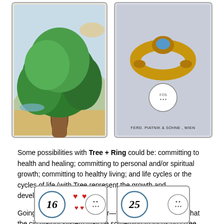[Figure (illustration): Two illustrated cards side by side: left card shows a large tree in a landscape (Tree card), right card shows a golden ring with a blue gemstone with 'Ferd. Piatnik & Söhne, Wien' label and a circular logo (Ring card).]
Some possibilities with Tree + Ring could be: committing to health and healing; committing to personal and/or spiritual growth; committing to healthy living; and life cycles or the cycles of life (with Tree represent the growth and development stages of life).
Going with Ring being circular—the pair could be a nod that the circulatory system may be something to focus on (Tree being the focus card).
[Figure (illustration): Two playing-style cards: left card numbered 16 with heart symbols and a circular logo, right card numbered 25 with a circular logo.]